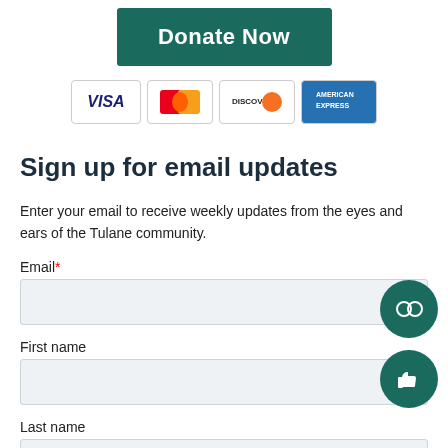[Figure (other): Donate Now button in dark teal color]
[Figure (other): Payment card logos: VISA, MasterCard, Discover, American Express]
Sign up for email updates
Enter your email to receive weekly updates from the eyes and ears of the Tulane community.
Email*
First name
Last name